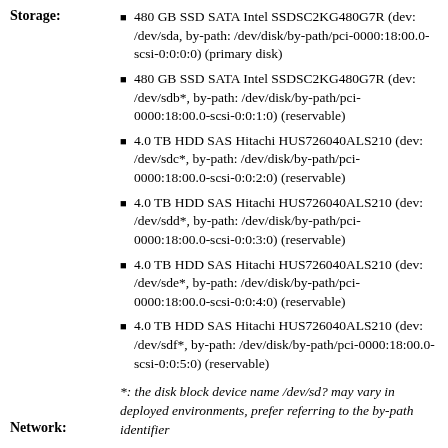Storage:
480 GB SSD SATA Intel SSDSC2KG480G7R (dev: /dev/sda, by-path: /dev/disk/by-path/pci-0000:18:00.0-scsi-0:0:0:0) (primary disk)
480 GB SSD SATA Intel SSDSC2KG480G7R (dev: /dev/sdb*, by-path: /dev/disk/by-path/pci-0000:18:00.0-scsi-0:0:1:0) (reservable)
4.0 TB HDD SAS Hitachi HUS726040ALS210 (dev: /dev/sdc*, by-path: /dev/disk/by-path/pci-0000:18:00.0-scsi-0:0:2:0) (reservable)
4.0 TB HDD SAS Hitachi HUS726040ALS210 (dev: /dev/sdd*, by-path: /dev/disk/by-path/pci-0000:18:00.0-scsi-0:0:3:0) (reservable)
4.0 TB HDD SAS Hitachi HUS726040ALS210 (dev: /dev/sde*, by-path: /dev/disk/by-path/pci-0000:18:00.0-scsi-0:0:4:0) (reservable)
4.0 TB HDD SAS Hitachi HUS726040ALS210 (dev: /dev/sdf*, by-path: /dev/disk/by-path/pci-0000:18:00.0-scsi-0:0:5:0) (reservable)
*: the disk block device name /dev/sd? may vary in deployed environments, prefer referring to the by-path identifier
Network: